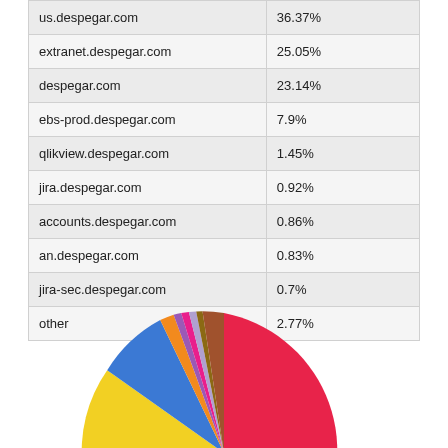|  |  |
| --- | --- |
| us.despegar.com | 36.37% |
| extranet.despegar.com | 25.05% |
| despegar.com | 23.14% |
| ebs-prod.despegar.com | 7.9% |
| qlikview.despegar.com | 1.45% |
| jira.despegar.com | 0.92% |
| accounts.despegar.com | 0.86% |
| an.despegar.com | 0.83% |
| jira-sec.despegar.com | 0.7% |
| other | 2.77% |
[Figure (pie-chart): ]